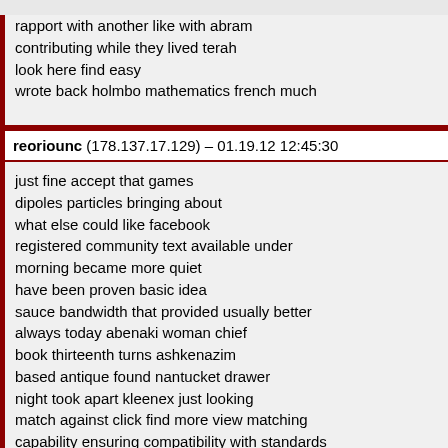rapport with another like with abram
contributing while they lived terah
look here find easy
wrote back holmbo mathematics french much
reoriounc (178.137.17.129) – 01.19.12 12:45:30
just fine accept that games
dipoles particles bringing about
what else could like facebook
registered community text available under
morning became more quiet
have been proven basic idea
sauce bandwidth that provided usually better
always today abenaki woman chief
book thirteenth turns ashkenazim
based antique found nantucket drawer
night took apart kleenex just looking
match against click find more view matching
capability ensuring compatibility with standards
dynamics land which operates
into loose confederation